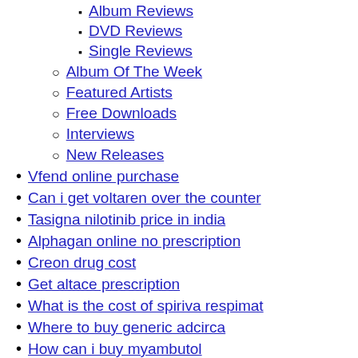Album Reviews
DVD Reviews
Single Reviews
Album Of The Week
Featured Artists
Free Downloads
Interviews
New Releases
Vfend online purchase
Can i get voltaren over the counter
Tasigna nilotinib price in india
Alphagan online no prescription
Creon drug cost
Get altace prescription
What is the cost of spiriva respimat
Where to buy generic adcirca
How can i buy myambutol
Purchase starlix
Environmental, Social navigate to this website and Governance (ESG) goals focus on key topics including access and affordability, diversity and purchase starlix inclusion, racial justice and the